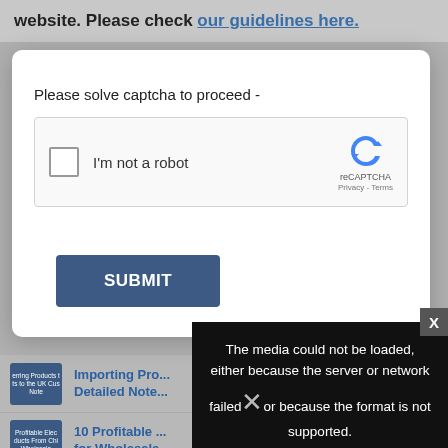website. Please check our guidelines here.
[Figure (screenshot): CAPTCHA modal dialog with 'Please solve captcha to proceed -' text, reCAPTCHA checkbox widget, and SUBMIT button]
Importing Pro... Detailed Note...
10 Profitable ... for Wholesale...
[Figure (screenshot): Black overlay panel with error message: 'The media could not be loaded, either because the server or network failed or because the format is not supported.' with X close button]